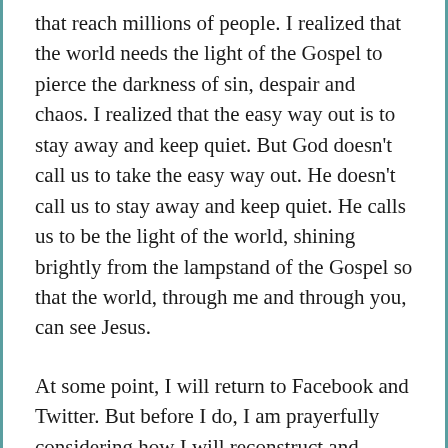that reach millions of people. I realized that the world needs the light of the Gospel to pierce the darkness of sin, despair and chaos. I realized that the easy way out is to stay away and keep quiet. But God doesn't call us to take the easy way out. He doesn't call us to stay away and keep quiet. He calls us to be the light of the world, shining brightly from the lampstand of the Gospel so that the world, through me and through you, can see Jesus.
At some point, I will return to Facebook and Twitter. But before I do, I am prayerfully considering how I will reconstruct and recraft my experiences to avoid the snares of anger and divisiveness while being the light my